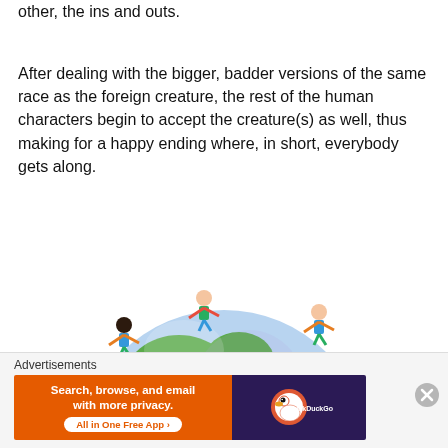other, the ins and outs.
After dealing with the bigger, badder versions of the same race as the foreign creature, the rest of the human characters begin to accept the creature(s) as well, thus making for a happy ending where, in short, everybody gets along.
[Figure (illustration): Illustration of colorful cartoon children of various ethnicities holding hands around a globe of the Earth, representing world unity and everyone getting along.]
Advertisements
[Figure (screenshot): DuckDuckGo advertisement banner: orange left side with text 'Search, browse, and email with more privacy. All in One Free App' and dark right side with DuckDuckGo logo.]